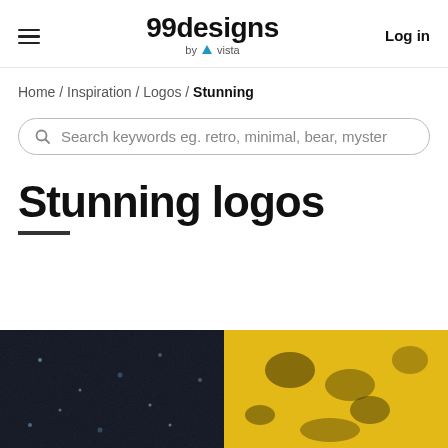99designs by vista | Log in
Home / Inspiration / Logos / Stunning
Search keywords eg. retro, minimal, bear, myster
Stunning logos
[Figure (photo): Split image showing dark textured surface on the left and yellow textured surface on the right, used as a hero banner for Stunning logos page]